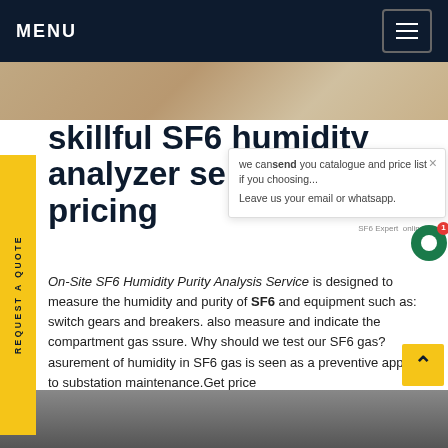MENU
[Figure (photo): Top photo strip showing laboratory or equipment surface]
skillful SF6 humidity analyzer separating pricing
On-Site SF6 Humidity Purity Analysis Service is designed to measure the humidity and purity of SF6 and equipment such as: switch gears and breakers. also measure and indicate the compartment gas ssure. Why should we test our SF6 gas? asurement of humidity in SF6 gas is seen as a preventive approach to substation maintenance.Get price
[Figure (screenshot): Popup overlay: 'we can send you catalogue and price list if you choosing... Leave us your email or whatsapp.' with green chat button showing notification badge 1 and SF6 Expert online label]
[Figure (photo): Bottom photo strip]
REQUEST A QUOTE